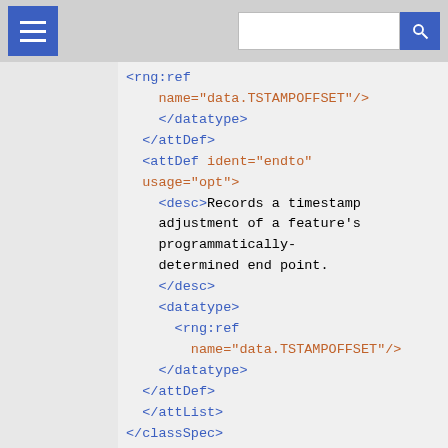[Figure (screenshot): Top navigation bar with hamburger menu icon (blue square) on the left and a search input field with blue search button on the right]
<rng:ref
    name="data.TSTAMPOFFSET"/>
</datatype>
</attDef>
<attDef ident="endto"
usage="opt">
<desc>Records a timestamp adjustment of a feature's programmatically-determined end point.</desc>
<datatype>
    <rng:ref
        name="data.TSTAMPOFFSET"/>
</datatype>
</attDef>
</attList>
</classSpec>